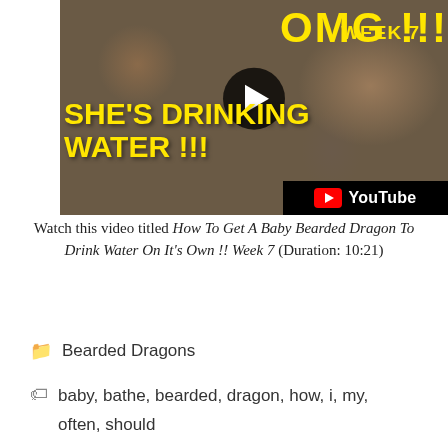[Figure (screenshot): YouTube video thumbnail showing a bearded dragon lizard with yellow bold text 'SHE'S DRINKING WATER !!!' and 'WEEK 7', with a play button in the center and YouTube logo bar at bottom]
Watch this video titled How To Get A Baby Bearded Dragon To Drink Water On It's Own !! Week 7 (Duration: 10:21)
Bearded Dragons
baby, bathe, bearded, dragon, how, i, my, often, should